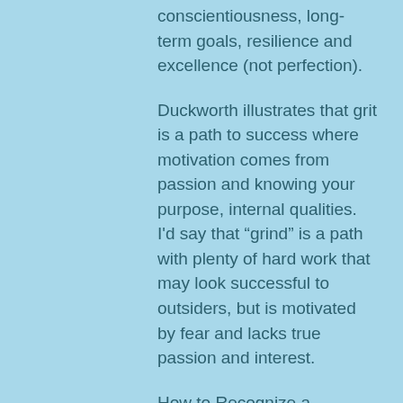conscientiousness, long-term goals, resilience and excellence (not perfection).
Duckworth illustrates that grit is a path to success where motivation comes from passion and knowing your purpose, internal qualities. I'd say that “grind” is a path with plenty of hard work that may look successful to outsiders, but is motivated by fear and lacks true passion and interest.
How to Recognize a Grindset
Operating from fear—fear of disappointing others or not meeting their expectations; fear of failure; fear of not being liked.